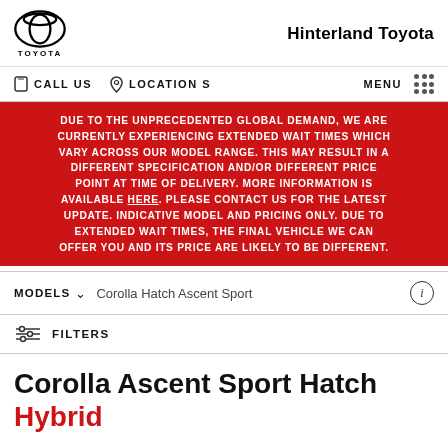Hinterland Toyota
CALL US   LOCATIONS   MENU
DUE TO THE UNPRECEDENTED GLOBAL DEMAND, WE ARE CURRENTLY EXPERIENCING EXTENDED WAIT TIMES WHICH VARY ACROSS OUR MODEL RANGE. THIS MAY RESULT IN A DIFFERENT SPECIFICATION AND/OR DIFFERENT PRICE POINT AT TIME OF DELIVERY. MORE INFORMATION IS AVAILABLE HERE. PLEASE CONTACT US FOR THE LATEST UPDATE. INDICATIVE MODEL AND PRICING ONLY. DUE TO EXTENDED WAIT TIMES, THE FINAL VEHICLE WE CAN OFFER YOU AND ITS PRICE ARE LIKELY TO BE DIFFERENT.
MODELS   Corolla Hatch Ascent Sport
FILTERS
Corolla Ascent Sport Hatch Hybrid